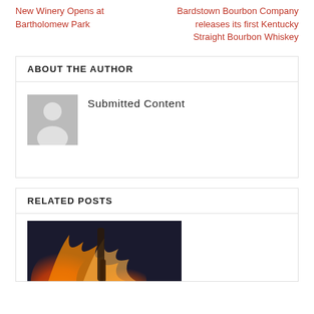New Winery Opens at Bartholomew Park
Bardstown Bourbon Company releases its first Kentucky Straight Bourbon Whiskey
ABOUT THE AUTHOR
Submitted Content
[Figure (illustration): Default user avatar placeholder — silhouette of a person on grey background]
RELATED POSTS
[Figure (photo): Photo of flames and a bottle, dark background with orange fire]